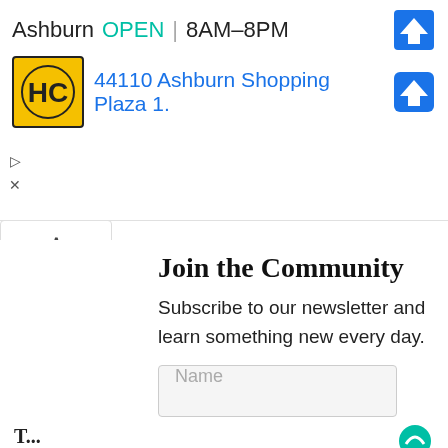[Figure (screenshot): Google Maps ad banner showing Ashburn location for HC (HandyConnect or similar), open 8AM–8PM, address 44110 Ashburn Shopping Plaza 1., with HC logo and navigation arrow icon]
Join the Community
Subscribe to our newsletter and learn something new every day.
Name (input field placeholder)
Email Address (input field placeholder)
Subscribe (button)